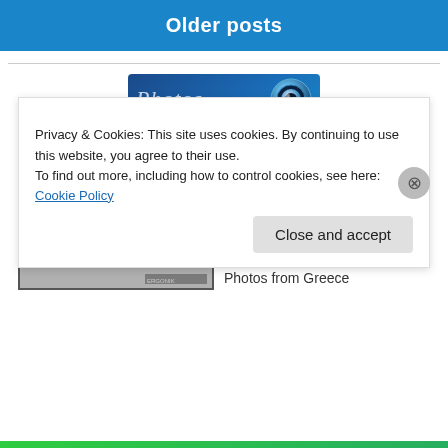Older posts
[Figure (logo): Photos banner with camera icon on blue gradient background, text reads 'Photos']
[Figure (photo): Black and white historic street photograph from Greece, showing people walking on a city street with buildings]
Photos from Greece
Privacy & Cookies: This site uses cookies. By continuing to use this website, you agree to their use.
To find out more, including how to control cookies, see here: Cookie Policy
Close and accept